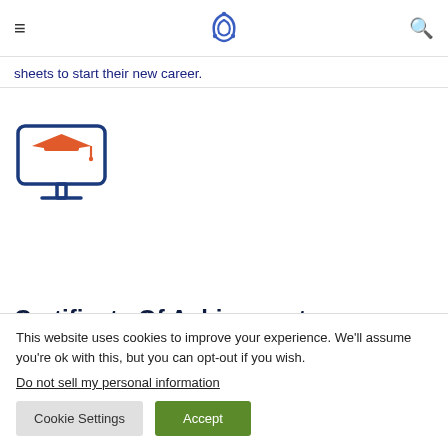[logo: stylized blue swirl icon]
sheets to start their new career.
[Figure (illustration): Monitor icon with a graduation cap (mortarboard) in orange on the screen, monitor stand in dark navy blue]
Certificate Of Achievment
This website uses cookies to improve your experience. We'll assume you're ok with this, but you can opt-out if you wish.
Do not sell my personal information
Cookie Settings  Accept